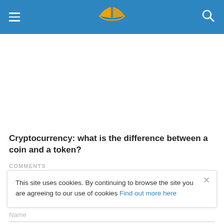[Site header with logo, hamburger menu, and search icon]
Cryptocurrency: what is the difference between a coin and a token?
This site uses cookies. By continuing to browse the site you are agreeing to our use of cookies Find out more here
COMMENTS
Name